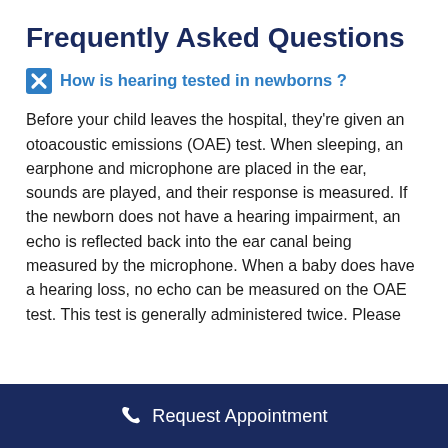Frequently Asked Questions
How is hearing tested in newborns ?
Before your child leaves the hospital, they’re given an otoacoustic emissions (OAE) test. When sleeping, an earphone and microphone are placed in the ear, sounds are played, and their response is measured. If the newborn does not have a hearing impairment, an echo is reflected back into the ear canal being measured by the microphone. When a baby does have a hearing loss, no echo can be measured on the OAE test. This test is generally administered twice. Please
Request Appointment